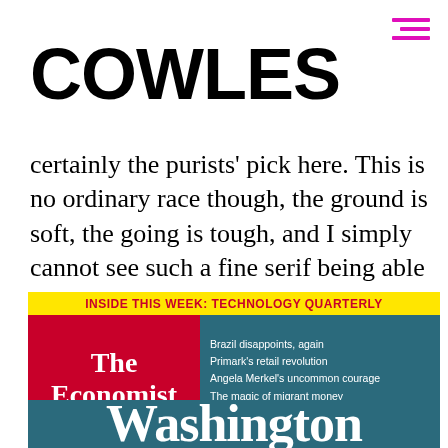COWLES
certainly the purists’ pick here. This is no ordinary race though, the ground is soft, the going is tough, and I simply cannot see such a fine serif being able to stand up to some of the rougher boys here. I’m saying tears before bedtime for this one.
[Figure (illustration): The Economist magazine cover showing yellow banner reading INSIDE THIS WEEK: TECHNOLOGY QUARTERLY, red cover box with The Economist title, headlines including Brazil disappoints again, Primark’s retail revolution, Angela Merkel’s uncommon courage, The magic of migrant money, Making cycling less deadly, and partial Washington headline at bottom]